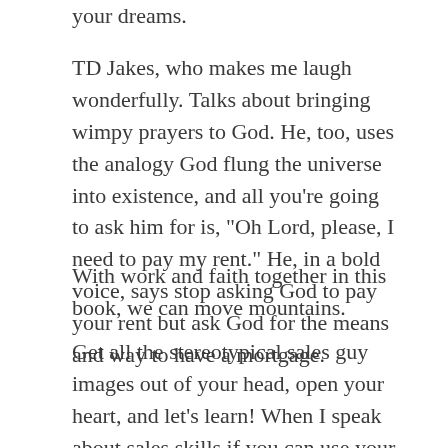your dreams.
TD Jakes, who makes me laugh wonderfully. Talks about bringing wimpy prayers to God. He, too, uses the analogy God flung the universe into existence, and all you’re going to ask him for is, “Oh Lord, please, I need to pay my rent.” He, in a bold voice, says stop asking God to pay your rent but ask God for the means and way to have a mortgage.
With work and faith together in this book, we can move mountains.
Get all the stereotypical sales guy images out of your head, open your heart, and let’s learn! When I speak about sales skills if you can use your power of persuasion in the betterment of your life. Wow, watch